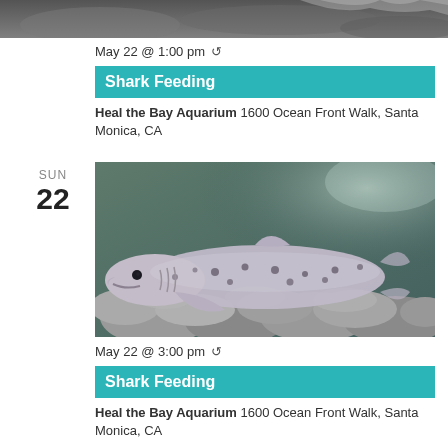[Figure (photo): Partial top image of shark or aquatic creature on rocks, cropped at top of page]
May 22 @ 1:00 pm ↻
Shark Feeding
Heal the Bay Aquarium 1600 Ocean Front Walk, Santa Monica, CA
SUN
22
[Figure (photo): Underwater photo of a spotted shark (horn shark or similar) resting on rocks in an aquarium tank]
May 22 @ 3:00 pm ↻
Shark Feeding
Heal the Bay Aquarium 1600 Ocean Front Walk, Santa Monica, CA